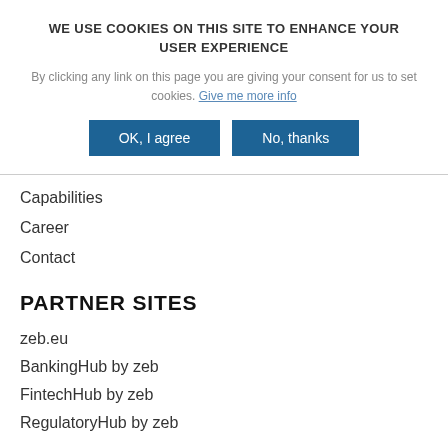WE USE COOKIES ON THIS SITE TO ENHANCE YOUR USER EXPERIENCE
By clicking any link on this page you are giving your consent for us to set cookies. Give me more info
Capabilities
Career
Contact
PARTNER SITES
zeb.eu
BankingHub by zeb
FintechHub by zeb
RegulatoryHub by zeb